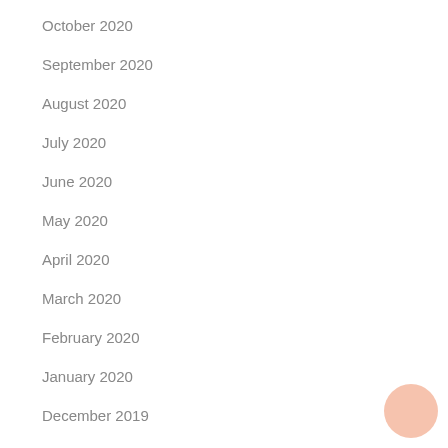October 2020
September 2020
August 2020
July 2020
June 2020
May 2020
April 2020
March 2020
February 2020
January 2020
December 2019
November 2019
October 2019